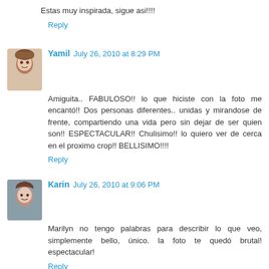Estas muy inspirada, sigue asi!!!!
Reply
Yamil  July 26, 2010 at 8:29 PM
Amiguita.. FABULOSO!! lo que hiciste con la foto me encantó!! Dos personas diferentes.. unidas y mirandose de frente, compartiendo una vida pero sin dejar de ser quien son!! ESPECTACULAR!! Chulisimo!! lo quiero ver de cerca en el proximo crop!! BELLISIMO!!!!
Reply
Karin  July 26, 2010 at 9:06 PM
Marilyn no tengo palabras para describir lo que veo, simplemente bello, único. la foto te quedó brutal! espectacular!
Reply